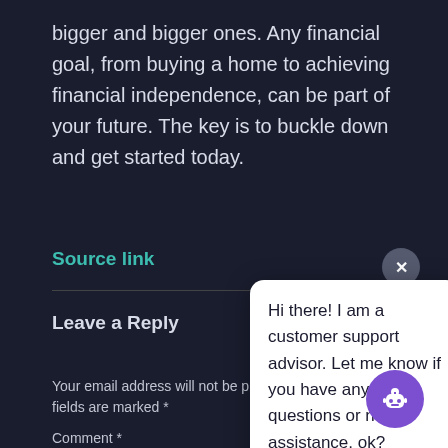bigger and bigger ones. Any financial goal, from buying a home to achieving financial independence, can be part of your future. The key is to buckle down and get started today.
Source link
Leave a Reply
Hi there! I am a customer support advisor. Let me know if you have any questions or need assistance, ok?
Your email address will not be published. Required fields are marked *
Comment *